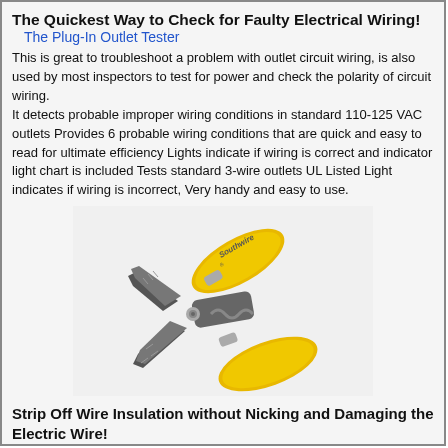The Quickest Way to Check for Faulty Electrical Wiring!
The Plug-In Outlet Tester
This is great to troubleshoot a problem with outlet circuit wiring, is also used by most inspectors to test for power and check the polarity of circuit wiring. It detects probable improper wiring conditions in standard 110-125 VAC outlets Provides 6 probable wiring conditions that are quick and easy to read for ultimate efficiency Lights indicate if wiring is correct and indicator light chart is included Tests standard 3-wire outlets UL Listed Light indicates if wiring is incorrect, Very handy and easy to use.
[Figure (photo): A yellow-handled Southwire wire stripper and wire cutter tool photographed on a light background.]
Strip Off Wire Insulation without Nicking and Damaging the Electric Wire!
The Wire Stripper and Wire Cutter
A wire stripping tool used to safely strip electrical wires. This handy tool has multiple uses. The wire stripping gauges are used the...